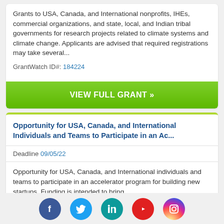Grants to USA, Canada, and International nonprofits, IHEs, commercial organizations, and state, local, and Indian tribal governments for research projects related to climate systems and climate change. Applicants are advised that required registrations may take several...
GrantWatch ID#: 184224
VIEW FULL GRANT »
Opportunity for USA, Canada, and International Individuals and Teams to Participate in an Ac...
Deadline 09/05/22
Opportunity for USA, Canada, and International individuals and teams to participate in an accelerator program for building new startups. Funding is intended to bring...